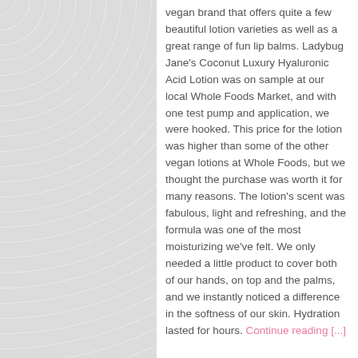vegan brand that offers quite a few beautiful lotion varieties as well as a great range of fun lip balms. Ladybug Jane's Coconut Luxury Hyaluronic Acid Lotion was on sample at our local Whole Foods Market, and with one test pump and application, we were hooked. This price for the lotion was higher than some of the other vegan lotions at Whole Foods, but we thought the purchase was worth it for many reasons. The lotion's scent was fabulous, light and refreshing, and the formula was one of the most moisturizing we've felt. We only needed a little product to cover both of our hands, on top and the palms, and we instantly noticed a difference in the softness of our skin. Hydration lasted for hours. Continue reading [...]